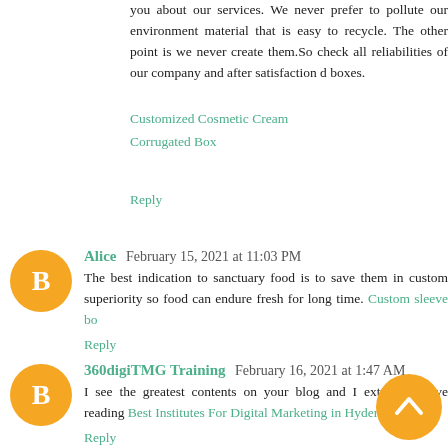you about our services. We never prefer to pollute our environment material that is easy to recycle. The other point is we never create them.So check all reliabilities of our company and after satisfaction d boxes.
Customized Cosmetic Cream
Corrugated Box
Reply
Alice  February 15, 2021 at 11:03 PM
The best indication to sanctuary food is to save them in custom superiority so food can endure fresh for long time. Custom sleeve bo
Reply
360digiTMG Training  February 16, 2021 at 1:47 AM
I see the greatest contents on your blog and I extremely love reading Best Institutes For Digital Marketing in Hyderabad
Reply
AnnaSereno  February 16, 2021 at 3:10 AM
Hey! Lovely blog. Your blog contains all the details a rm QuickBooks user, here is good news for you. You may encoun